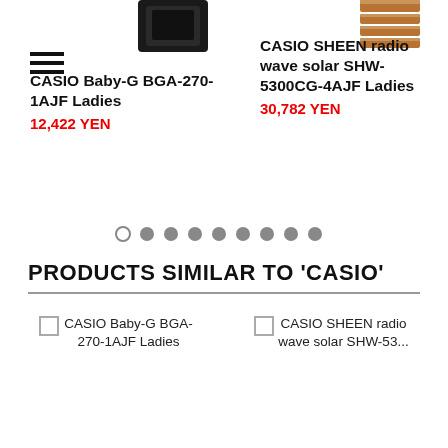[Figure (photo): Partial top view of a dark CASIO Baby-G watch]
[Figure (photo): Partial top view of a rose-gold CASIO SHEEN watch bracelet]
CASIO Baby-G BGA-270-1AJF Ladies
12,422 YEN
CASIO SHEEN radio wave solar SHW-5300CG-4AJF Ladies
30,782 YEN
[Figure (other): Pagination dots: one open circle followed by eight filled grey circles]
PRODUCTS SIMILAR TO 'CASIO'
CASIO Baby-G BGA-270-1AJF Ladies
CASIO SHEEN radio wave solar SHW-53...